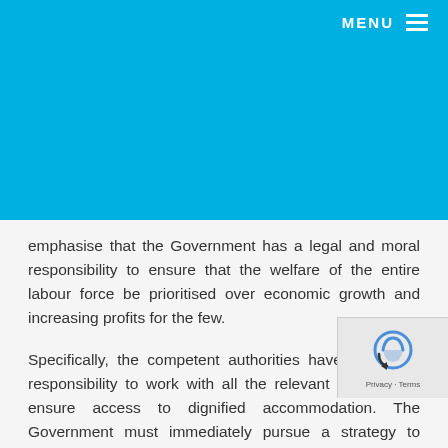MENU
emphasise that the Government has a legal and moral responsibility to ensure that the welfare of the entire labour force be prioritised over economic growth and increasing profits for the few.
Specifically, the competent authorities have an urgent responsibility to work with all the relevant agencies to ensure access to dignified accommodation. The Government must immediately pursue a strategy to ensure that decent and affordable housing is made available for all, regardless of where they fall on the economic la
Furthermore, the Government is urged to take concrete